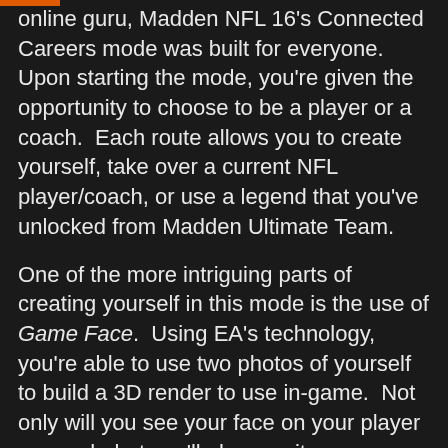online guru, Madden NFL 16's Connected Careers mode was built for everyone. Upon starting the mode, you're given the opportunity to choose to be a player or a coach. Each route allows you to create yourself, take over a current NFL player/coach, or use a legend that you've unlocked from Madden Ultimate Team.
One of the more intriguing parts of creating yourself in this mode is the use of Game Face. Using EA's technology, you're able to use two photos of yourself to build a 3D render to use in-game. Not only will you see your face on your player or coach, but you'll also see it as your player card. It's a subtle touch that goes a long way to help you remain immersed in the mode.
Once you've chosen your path, the next options